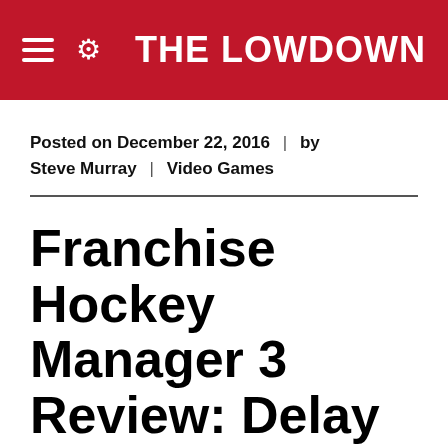THE LOWDOWN
Posted on December 22, 2016 | by Steve Murray | Video Games
Franchise Hockey Manager 3 Review: Delay of Game